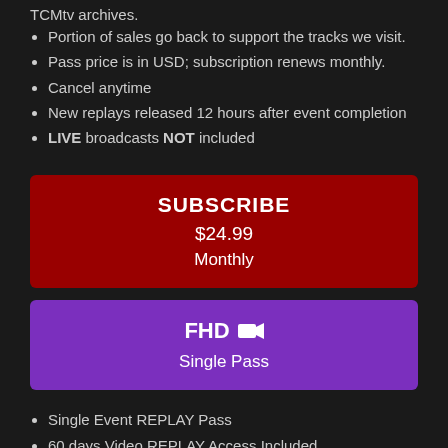TCMtv archives.
Portion of sales go back to support the tracks we visit.
Pass price is in USD; subscription renews monthly.
Cancel anytime
New replays released 12 hours after event completion
LIVE broadcasts NOT included
[Figure (other): Red SUBSCRIBE button box showing $24.99 Monthly]
[Figure (other): Purple FHD camera icon Single Pass button box]
Single Event REPLAY Pass
60 days Video REPLAY Access Included